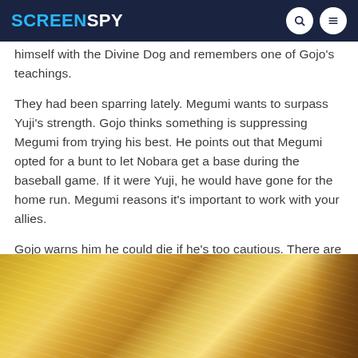SCREENSPY
himself with the Divine Dog and remembers one of Gojo's teachings.
They had been sparring lately. Megumi wants to surpass Yuji's strength. Gojo thinks something is suppressing Megumi from trying his best. He points out that Megumi opted for a bunt to let Nobara get a base during the baseball game. If it were Yuji, he would have gone for the home run. Megumi reasons it's important to work with your allies.
Gojo warns him he could die if he's too cautious. There are times when he must be greedy.
[Figure (photo): Anime screenshot showing a character with blonde/white hair from behind, warm golden tones, brick wall visible in background.]